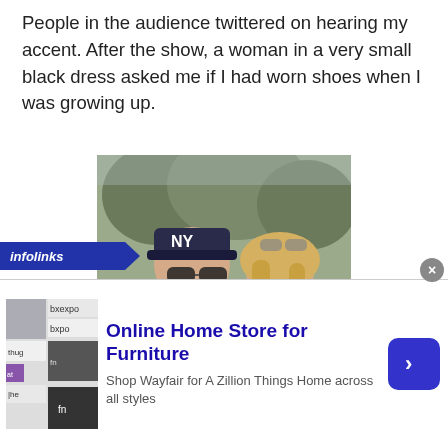People in the audience twittered on hearing my accent. After the show, a woman in a very small black dress asked me if I had worn shoes when I was growing up.
[Figure (photo): Old photograph of a man and woman standing together outdoors. The man wears a NY Yankees cap and sunglasses and a pink/purple t-shirt. The woman has blonde hair and sunglasses on her head. Trees visible in background.]
[Figure (infographic): infolinks advertisement banner at the bottom of the page. Shows a Wayfair ad: 'Online Home Store for Furniture' with subtext 'Shop Wayfair for A Zillion Things Home across all styles'. Includes thumbnail images and a blue arrow button.]